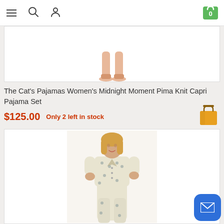Navigation bar with menu, search, account icons and shopping cart showing 0 items
[Figure (photo): Partial view of pajama product - cropped showing feet/legs only]
The Cat's Pajamas Women's Midnight Moment Pima Knit Capri Pajama Set
$125.00   Only 2 left in stock
[Figure (illustration): Orange shopping bag icon]
[Figure (photo): Woman wearing cream/ivory patterned short-sleeve button-up pajama set with matching long pants]